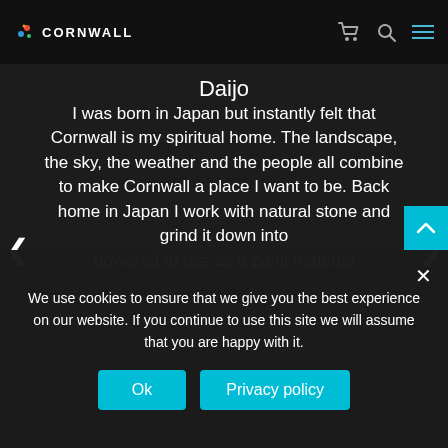CORNWALL
Daijo
I was born in Japan but instantly felt that Cornwall is my spiritual home. The landscape, the sky, the weather and the people all combine to make Cornwall a place I want to be. Back home in Japan I work with natural stone and grind it down into powered to use as a paint material
We use cookies to ensure that we give you the best experience on our website. If you continue to use this site we will assume that you are happy with it.